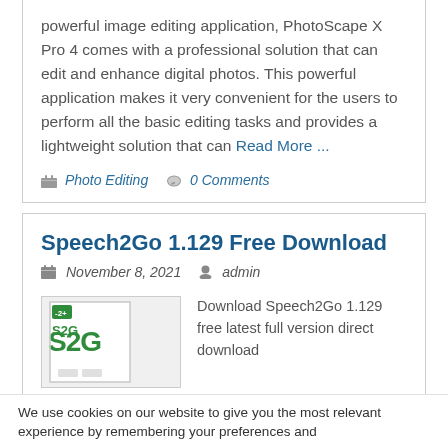powerful image editing application, PhotoScape X Pro 4 comes with a professional solution that can edit and enhance digital photos. This powerful application makes it very convenient for the users to perform all the basic editing tasks and provides a lightweight solution that can Read More ...
Photo Editing   0 Comments
Speech2Go 1.129 Free Download
November 8, 2021   admin
[Figure (logo): Speech2Go S2G product box image with green S2G logo on white box]
Download Speech2Go 1.129 free latest full version direct download
We use cookies on our website to give you the most relevant experience by remembering your preferences and